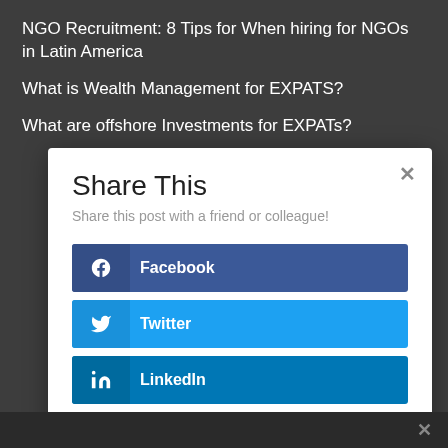NGO Recruitment: 8 Tips for When hiring for NGOs in Latin America
What is Wealth Management for EXPATS?
What are offshore Investments for EXPATs?
Share This
Share this post with a friend or colleague!
Facebook
Twitter
LinkedIn
reddit